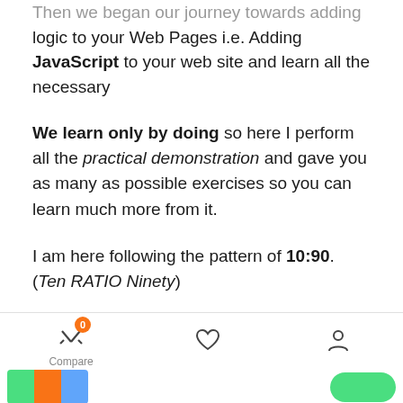Then we began our journey towards adding logic to your Web Pages i.e. Adding JavaScript to your web site and learn all the necessary
We learn only by doing so here I perform all the practical demonstration and gave you as many as possible exercises so you can learn much more from it.
I am here following the pattern of 10:90. (Ten RATIO Ninety)
10% is from my side but that is enough